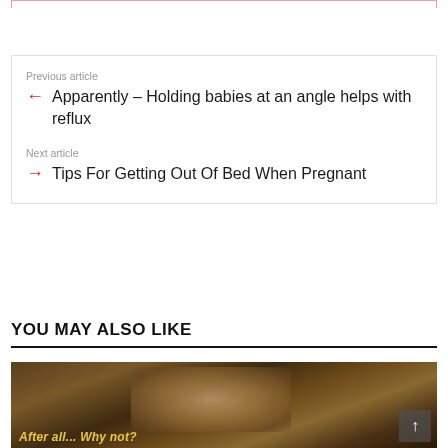Previous article
Apparently – Holding babies at an angle helps with reflux
Next article
Tips For Getting Out Of Bed When Pregnant
YOU MAY ALSO LIKE
[Figure (photo): An elderly man with white hair, appears to be a movie still with yellow italic text at the bottom reading 'After all... Why not?']